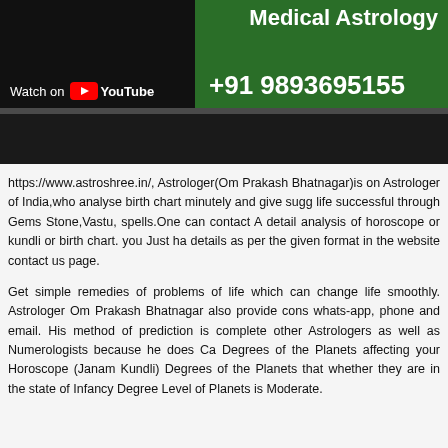Medical Astrology
Watch on YouTube +91 9893695155
https://www.astroshree.in/, Astrologer(Om Prakash Bhatnagar)is on Astrologer of India,who analyse birth chart minutely and give sugg life successful through Gems Stone,Vastu, spells.One can contact A detail analysis of horoscope or kundli or birth chart. you Just ha details as per the given format in the website contact us page.
Get simple remedies of problems of life which can change life smoothly. Astrologer Om Prakash Bhatnagar also provide cons whats-app, phone and email. His method of prediction is complete other Astrologers as well as Numerologists because he does Ca Degrees of the Planets affecting your Horoscope (Janam Kundli) Degrees of the Planets that whether they are in the state of Infancy Degree Level of Planets is Moderate.